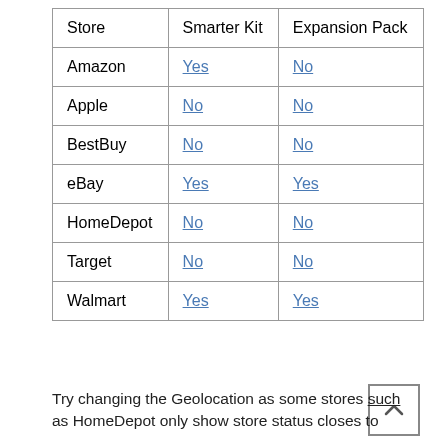| Store | Smarter Kit | Expansion Pack |
| --- | --- | --- |
| Amazon | Yes | No |
| Apple | No | No |
| BestBuy | No | No |
| eBay | Yes | Yes |
| HomeDepot | No | No |
| Target | No | No |
| Walmart | Yes | Yes |
Try changing the Geolocation as some stores such as HomeDepot only show store status closes to